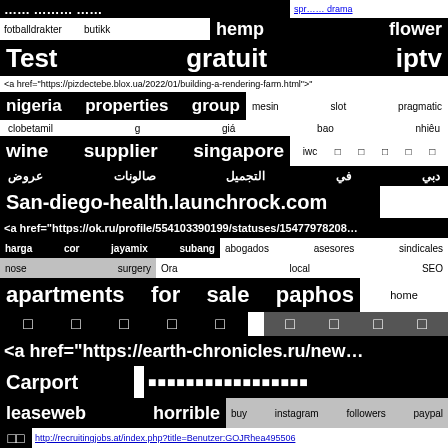fotballdrakter butikk hemp flower
Test gratuit iptv
<a href="https://pizdectebe.blox.ua/2022/01/building-a-rendering-farm.html">
nigeria properties group mesin slot pragmatic
clobetamil g giá bao nhiêu
wine supplier singapore iwc □ □ □ □ □
عروض صالونات التجميل في دبي
San-diego-health.launchrock.com
<a href="https://ok.ru/profile/554103390199/statuses/15477978208
harga cor jayamix subang abogados asesores sindicales
nose surgery Ora local SEO
apartments for sale paphos home
□ □ □ □ □ □ □ □ □
<a href="https://earth-chronicles.ru/new
Carport
leaseweb horrible buy instagram followers paypal
□□ http://recruitingjobs.at/index.php?title=Benutzer:GOJRhea495506
<a href="https://ideta.ru/bitrix/redirect.php?goto=https://twitter.com/Paul77338
برج تجاری رفاهی و مسکونی اختیاریه